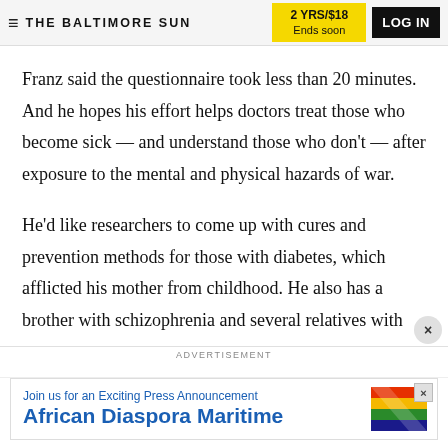THE BALTIMORE SUN | 2 YRS/$18 Ends soon | LOG IN
Franz said the questionnaire took less than 20 minutes. And he hopes his effort helps doctors treat those who become sick — and understand those who don't — after exposure to the mental and physical hazards of war.
He'd like researchers to come up with cures and prevention methods for those with diabetes, which afflicted his mother from childhood. He also has a brother with schizophrenia and several relatives with
[Figure (screenshot): Advertisement banner: 'Join us for an Exciting Press Announcement — African Diaspora Maritime' with colorful flag graphic and close button]